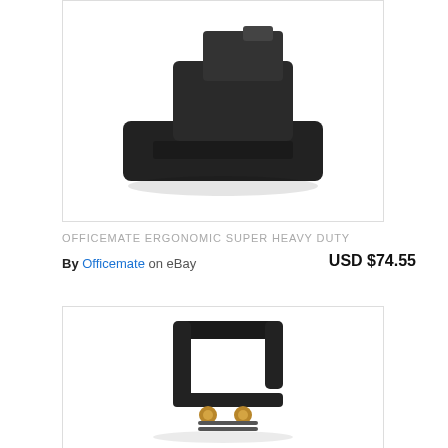[Figure (photo): Black office heavy-duty hole punch shown from above on white background, from eBay listing]
OFFICEMATE ERGONOMIC SUPER HEAVY DUTY
By Officemate on eBay   USD $74.55
[Figure (photo): Black metal binding spine or clip tool with brass screws, shown on white background]